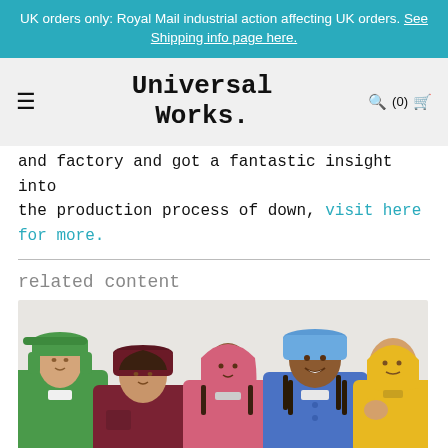UK orders only: Royal Mail industrial action affecting UK orders. See Shipping info page here.
Universal Works.
and factory and got a fantastic insight into the production process of down, visit here for more.
related content
[Figure (photo): Five models wearing colourful hats and jackets — green, dark red, pink, blue, and yellow — on a white background.]